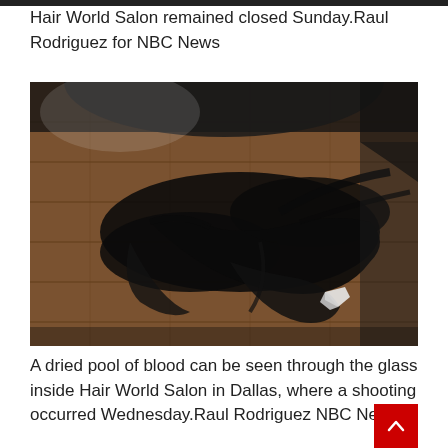Hair World Salon remained closed Sunday.Raul Rodriguez for NBC News
[Figure (photo): Interior photo through glass showing a dried pool of blood on wooden floorboards inside Hair World Salon in Dallas. The floor shows dark stains spread across wooden planks with a small white paper or object visible near the right side.]
A dried pool of blood can be seen through the glass inside Hair World Salon in Dallas, where a shooting occurred Wednesday.Raul Rodriguez NBC News